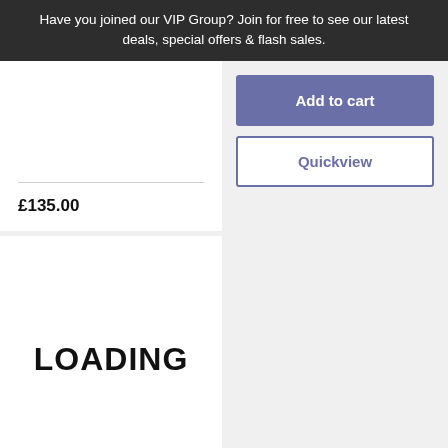Have you joined our VIP Group? Join for free to see our latest deals, special offers & flash sales.
£135.00
Add to cart
Quickview
LOADING